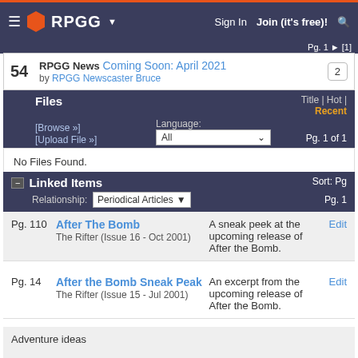RPGG | Sign In | Join (it's free)!
Pg. 1
54  RPGG News  Coming Soon: April 2021
by RPGG Newscaster Bruce  2
Files  Title | Hot | Recent  [Browse »]  [Upload File »]  Language: All  Pg. 1 of 1
No Files Found.
Linked Items  Sort: Pg  Relationship: Periodical Articles  Pg. 1
Pg. 110  After The Bomb  The Rifter (Issue 16 - Oct 2001)  A sneak peek at the upcoming release of After the Bomb.  Edit
Pg. 14  After the Bomb Sneak Peak  The Rifter (Issue 15 - Jul 2001)  An excerpt from the upcoming release of After the Bomb.  Edit
Adventure ideas